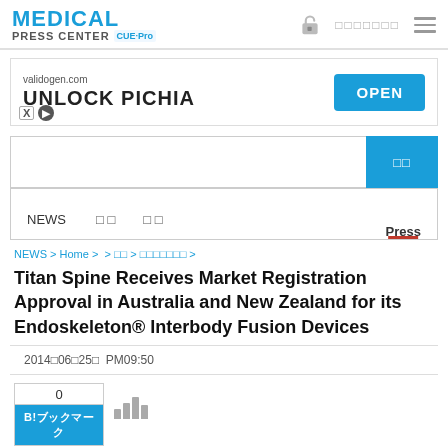MEDICAL PRESS CENTER CUE-Pro
[Figure (screenshot): Advertisement banner: validogen.com UNLOCK PICHIA with OPEN button]
[Figure (screenshot): Search input bar with blue search button showing Japanese characters]
[Figure (screenshot): Navigation bar with NEWS, Japanese menu items, and Press (active with red underline)]
NEWS > Home >  > 뉴스 > 프레스릴리즈 >
Titan Spine Receives Market Registration Approval in Australia and New Zealand for its Endoskeleton® Interbody Fusion Devices
2014년06월25일  PM09:50
[Figure (screenshot): Bookmark widget showing 0 count and B!ブックマーク button in blue, with bar chart icon]